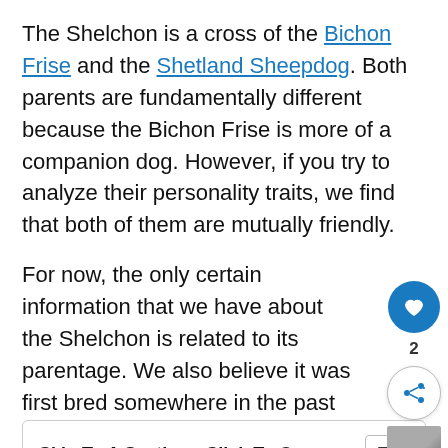The Shelchon is a cross of the Bichon Frise and the Shetland Sheepdog. Both parents are fundamentally different because the Bichon Frise is more of a companion dog. However, if you try to analyze their personality traits, we find that both of them are mutually friendly.
For now, the only certain information that we have about the Shelchon is related to its parentage. We also believe it was first bred somewhere in the past few decades. There are other things that we have to understand; all of those have been mentioned below.
Skip To A Section - Click To Open
[Figure (screenshot): Ad bar at the bottom: DON'T TEXT AND with car emoji and NHTSA logo on dark background]
[Figure (infographic): Floating UI overlay: heart/like button (blue circle, count 2), share button, and WHAT'S NEXT panel with dog image and Silkyhuahua Dog Breed text]